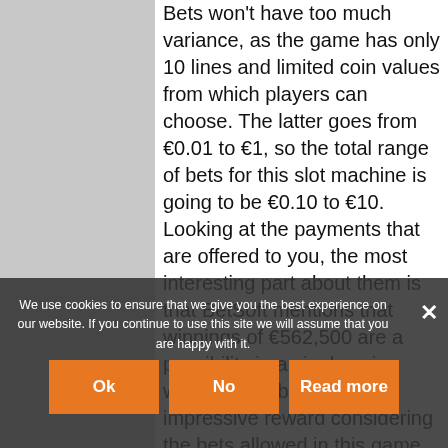Bets won't have too much variance, as the game has only 10 lines and limited coin values from which players can choose. The latter goes from €0.01 to €1, so the total range of bets for this slot machine is going to be €0.10 to €10. Looking at the payments that are offered to you, the most interesting part about them is that BetSoft mentions that winnings of €562,500 are a possibility in a single spin, which would be a pretty impressive reward considering the bets allowed in this game. As for the announced RTP it is only 95.05%. The beautiful graphics of the game are in line with the presence of unique gameplay can only improve the appeal of the game. It is advertised as a game that uses... reel grid system, called MaxPays, which offers...
We use cookies to ensure that we give you the best experience on our website. If you continue to use this site we will assume that you are happy with it.